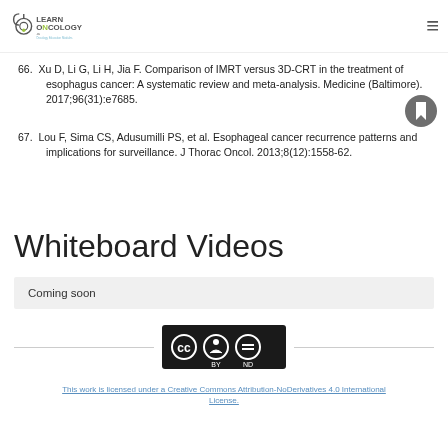Learn Oncology - Oncology Education Modules
66. Xu D, Li G, Li H, Jia F. Comparison of IMRT versus 3D-CRT in the treatment of esophagus cancer: A systematic review and meta-analysis. Medicine (Baltimore). 2017;96(31):e7685.
67. Lou F, Sima CS, Adusumilli PS, et al. Esophageal cancer recurrence patterns and implications for surveillance. J Thorac Oncol. 2013;8(12):1558-62.
Whiteboard Videos
Coming soon
[Figure (logo): Creative Commons Attribution-NoDerivatives 4.0 International License badge (CC BY ND)]
This work is licensed under a Creative Commons Attribution-NoDerivatives 4.0 International License.